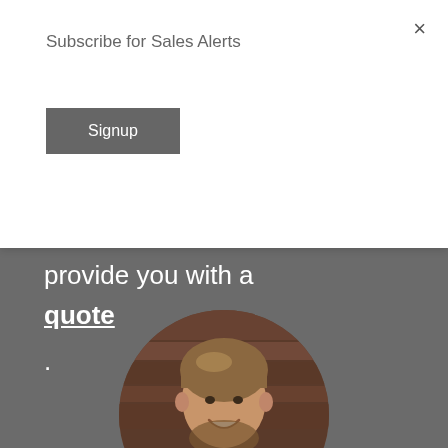×
Subscribe for Sales Alerts
Signup
provide you with a
quote
.
[Figure (photo): Circular portrait photo of a young man with brown hair, beard, wearing a dark navy blazer and white shirt, smiling, with a wooden background.]